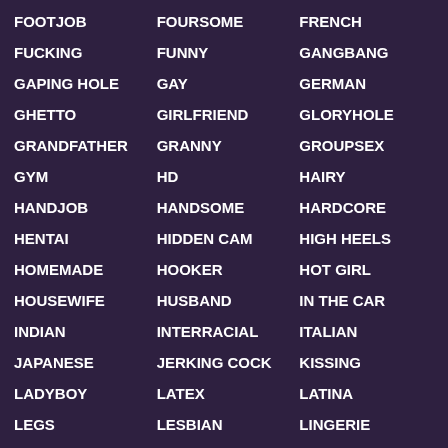FOOTJOB
FOURSOME
FRENCH
FUCKING
FUNNY
GANGBANG
GAPING HOLE
GAY
GERMAN
GHETTO
GIRLFRIEND
GLORYHOLE
GRANDFATHER
GRANNY
GROUPSEX
GYM
HD
HAIRY
HANDJOB
HANDSOME
HARDCORE
HENTAI
HIDDEN CAM
HIGH HEELS
HOMEMADE
HOOKER
HOT GIRL
HOUSEWIFE
HUSBAND
IN THE CAR
INDIAN
INTERRACIAL
ITALIAN
JAPANESE
JERKING COCK
KISSING
LADYBOY
LATEX
LATINA
LEGS
LESBIAN
LINGERIE
MMF
MASSAGE
MASTURBATION